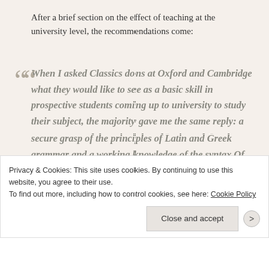After a brief section on the effect of teaching at the university level, the recommendations come:
When I asked Classics dons at Oxford and Cambridge what they would like to see as a basic skill in prospective students coming up to university to study their subject, the majority gave me the same reply: a secure grasp of the principles of Latin and Greek grammar and a working knowledge of the syntax.Of course, as interviews increasingly show, they look also for
Privacy & Cookies: This site uses cookies. By continuing to use this website, you agree to their use. To find out more, including how to control cookies, see here: Cookie Policy
Close and accept